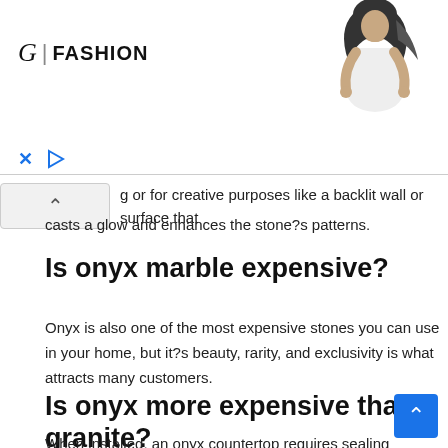[Figure (photo): Advertisement banner for G|FASHION with a model wearing a head scarf and white top, with X and play controls at bottom left]
g or for creative purposes like a backlit wall or surface that casts a glow and enhances the stone?s patterns.
Is onyx marble expensive?
Onyx is also one of the most expensive stones you can use in your home, but it?s beauty, rarity, and exclusivity is what attracts many customers.
Is onyx more expensive than granite?
When installed, an onyx countertop requires sealing in order to